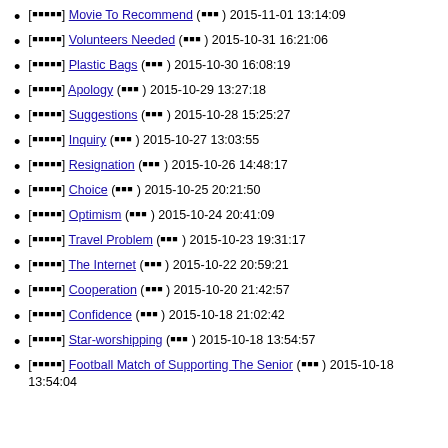[□□□□□] Movie To Recommend (□□□) 2015-11-01 13:14:09
[□□□□□] Volunteers Needed (□□□) 2015-10-31 16:21:06
[□□□□□] Plastic Bags (□□□) 2015-10-30 16:08:19
[□□□□□] Apology (□□□) 2015-10-29 13:27:18
[□□□□□] Suggestions (□□□) 2015-10-28 15:25:27
[□□□□□] Inquiry (□□□) 2015-10-27 13:03:55
[□□□□□] Resignation (□□□) 2015-10-26 14:48:17
[□□□□□] Choice (□□□) 2015-10-25 20:21:50
[□□□□□] Optimism (□□□) 2015-10-24 20:41:09
[□□□□□] Travel Problem (□□□) 2015-10-23 19:31:17
[□□□□□] The Internet (□□□) 2015-10-22 20:59:21
[□□□□□] Cooperation (□□□) 2015-10-20 21:42:57
[□□□□□] Confidence (□□□) 2015-10-18 21:02:42
[□□□□□] Star-worshipping (□□□) 2015-10-18 13:54:57
[□□□□□] Football Match of Supporting The Senior (□□□) 2015-10-18 13:54:04